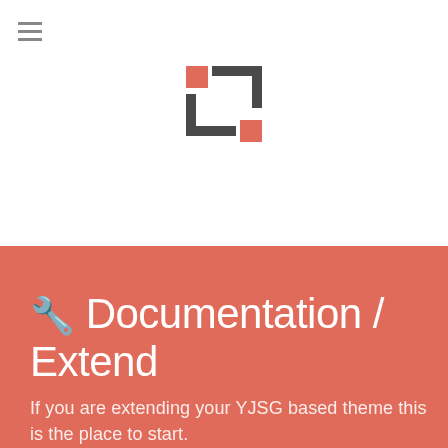[Figure (logo): YJSG logo — geometric square bracket shape made of dark grey L-shapes and red/coral squares in the corners, centered in white header area]
🔧 Documentation / Extend
If you are extending your YJSG based theme this is the place to start.